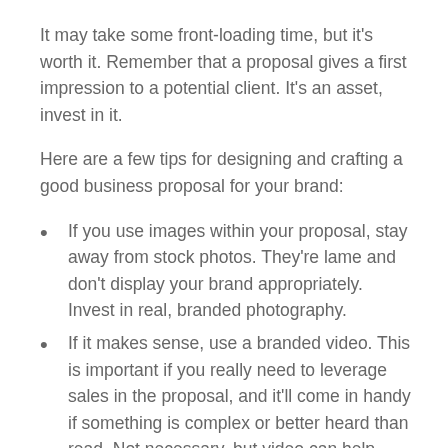It may take some front-loading time, but it's worth it. Remember that a proposal gives a first impression to a potential client. It's an asset, invest in it.
Here are a few tips for designing and crafting a good business proposal for your brand:
If you use images within your proposal, stay away from stock photos. They're lame and don't display your brand appropriately. Invest in real, branded photography.
If it makes sense, use a branded video. This is important if you really need to leverage sales in the proposal, and it'll come in handy if something is complex or better heard than read. Not necessary, but video can help.